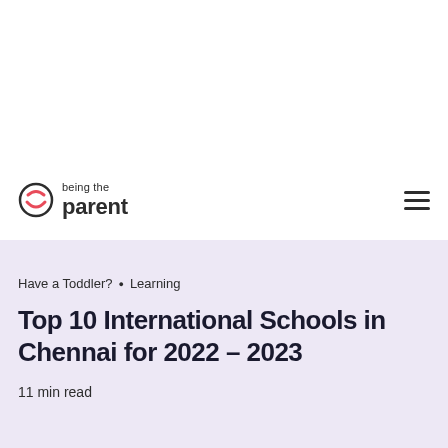being the parent
Have a Toddler? · Learning
Top 10 International Schools in Chennai for 2022 – 2023
11 min read